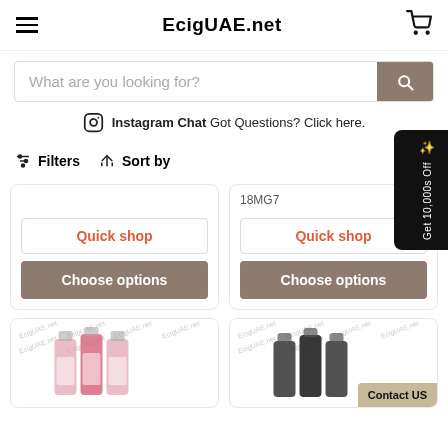EcigUAE.net
What are you looking for?
Instagram Chat  Got Questions? Click here.
Filters  Sort by
18MG7
Quick shop
Choose options
Quick shop
Choose options
[Figure (photo): Product bottles - pink label e-liquid bottles with watermark]
[Figure (photo): Product bottles - black e-liquid bottles with watermark and Contact US badge]